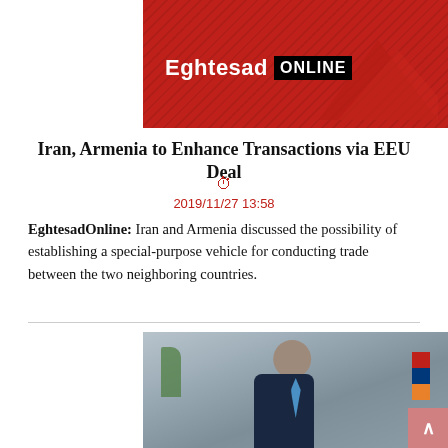[Figure (photo): Eghtesad Online logo banner — red background with diagonal grid pattern and arrow graphic, white bold text 'Eghtesad' and black box with white text 'ONLINE']
Iran, Armenia to Enhance Transactions via EEU Deal
2019/11/27 13:58
EghtesadOnline: Iran and Armenia discussed the possibility of establishing a special-purpose vehicle for conducting trade between the two neighboring countries.
[Figure (photo): Photo of a man in a dark suit with a blue tie, gray hair, smiling. An Armenian flag is visible in the background on the right side.]